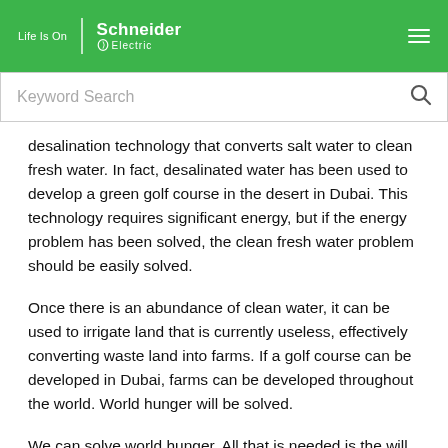Life Is On | Schneider Electric
Keyword Search
desalination technology that converts salt water to clean fresh water. In fact, desalinated water has been used to develop a green golf course in the desert in Dubai. This technology requires significant energy, but if the energy problem has been solved, the clean fresh water problem should be easily solved.
Once there is an abundance of clean water, it can be used to irrigate land that is currently useless, effectively converting waste land into farms. If a golf course can be developed in Dubai, farms can be developed throughout the world. World hunger will be solved.
We can solve world hunger. All that is needed is the will – and energy.
TAGS: